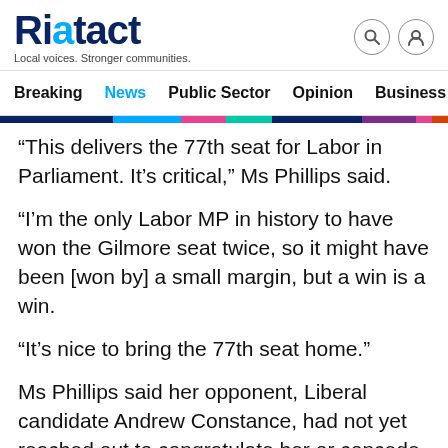Riotact — Local voices. Stronger communities.
Breaking | News | Public Sector | Opinion | Business | R…
“This delivers the 77th seat for Labor in Parliament. It’s critical,” Ms Phillips said.
“I’m the only Labor MP in history to have won the Gilmore seat twice, so it might have been [won by] a small margin, but a win is a win.
“It’s nice to bring the 77th seat home.”
Ms Phillips said her opponent, Liberal candidate Andrew Constance, had not yet reached out to congratulate her or concede.